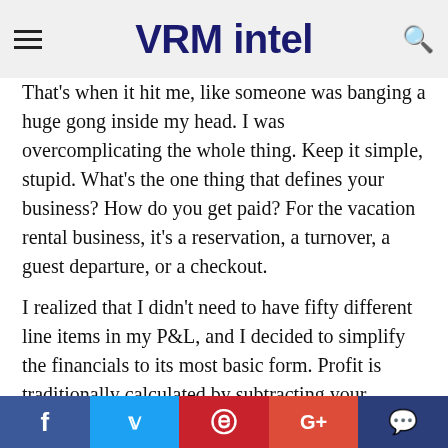VRM intel
That's when it hit me, like someone was banging a huge gong inside my head. I was overcomplicating the whole thing. Keep it simple, stupid. What's the one thing that defines your business? How do you get paid? For the vacation rental business, it's a reservation, a turnover, a guest departure, or a checkout.
I realized that I didn't need to have fifty different line items in my P&L, and I decided to simplify the financials to its most basic form. Profit is traditionally calculated by subtracting your expenses from your revenue (Revenue – Expenses = Profit). This is not rocket science. What I saw was that I was looking at my financials too broadly. As I drilled down and looked a little closer, I began to find the leaks. They weren't just small leaks, either. It wasn't just a
f  Twitter  Pinterest  G+  Comment